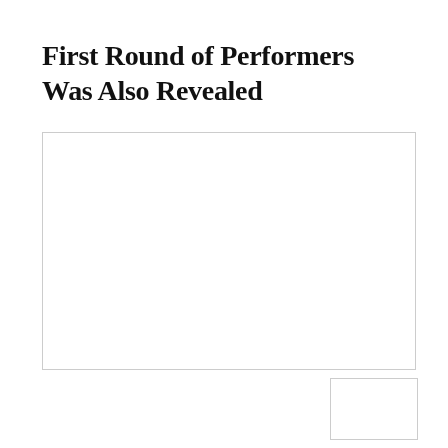First Round of Performers Was Also Revealed
[Figure (photo): Main image placeholder box with light gray border]
[Figure (photo): Small image placeholder box with light gray border in lower right area]